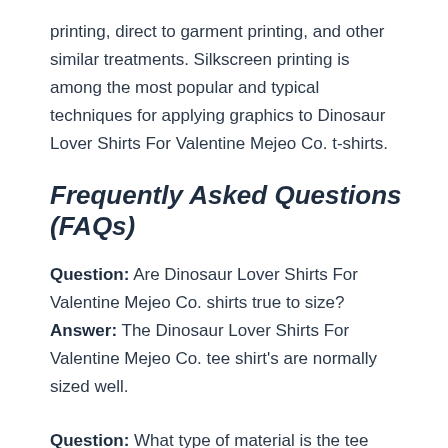printing, direct to garment printing, and other similar treatments. Silkscreen printing is among the most popular and typical techniques for applying graphics to Dinosaur Lover Shirts For Valentine Mejeo Co. t-shirts.
Frequently Asked Questions (FAQs)
Question: Are Dinosaur Lover Shirts For Valentine Mejeo Co. shirts true to size?
Answer: The Dinosaur Lover Shirts For Valentine Mejeo Co. tee shirt's are normally sized well.
Question: What type of material is the tee shirt made out of?
Answer: These tee shirts are generally cotton or cotton and poly blends. Refer to the Dinosaur Love Shirt For Boys